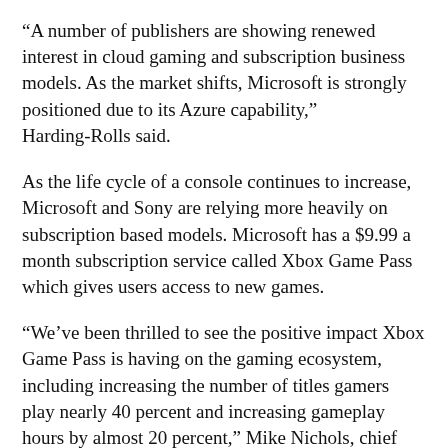“A number of publishers are showing renewed interest in cloud gaming and subscription business models. As the market shifts, Microsoft is strongly positioned due to its Azure capability,” Harding-Rolls said.
As the life cycle of a console continues to increase, Microsoft and Sony are relying more heavily on subscription based models. Microsoft has a $9.99 a month subscription service called Xbox Game Pass which gives users access to new games.
“We’ve been thrilled to see the positive impact Xbox Game Pass is having on the gaming ecosystem, including increasing the number of titles gamers play nearly 40 percent and increasing gameplay hours by almost 20 percent,” Mike Nichols, chief marketing officer for gaming at Microsoft, said in a press release on Sunday.